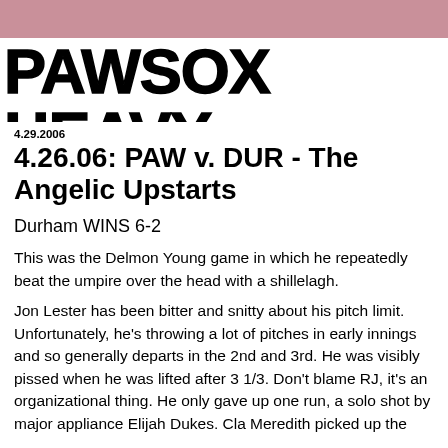PAWSOX HEAVY
4.29.2006
4.26.06: PAW v. DUR - The Angelic Upstarts
Durham WINS 6-2
This was the Delmon Young game in which he repeatedly beat the umpire over the head with a shillelagh.
Jon Lester has been bitter and snitty about his pitch limit. Unfortunately, he's throwing a lot of pitches in early innings and so generally departs in the 2nd and 3rd. He was visibly pissed when he was lifted after 3 1/3. Don't blame RJ, it's an organizational thing. He only gave up one run, a solo shot by major appliance Elijah Dukes. Cla Meredith picked up the